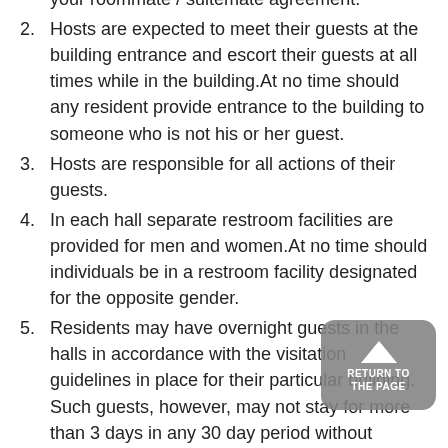accordance with Housing visitation policies and your roommate / suitemate agreement.
2. Hosts are expected to meet their guests at the building entrance and escort their guests at all times while in the building.At no time should any resident provide entrance to the building to someone who is not his or her guest.
3. Hosts are responsible for all actions of their guests.
4. In each hall separate restroom facilities are provided for men and women.At no time should individuals be in a restroom facility designated for the opposite gender.
5. Residents may have overnight guests in the halls in accordance with the visitation guidelines in place for their particular building. Such guests, however, may not stay for more than 3 days in any 30 day period without expressed permission from the Residence Coordinator or Hall Director.